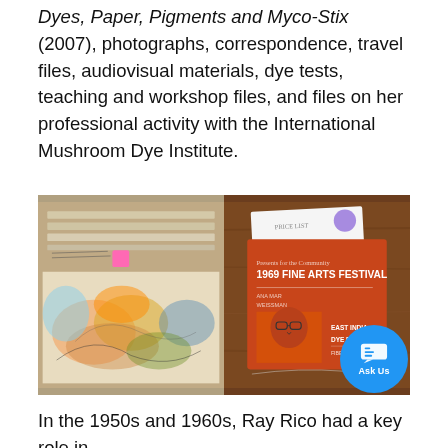Dyes, Paper, Pigments and Myco-Stix (2007), photographs, correspondence, travel files, audiovisual materials, dye tests, teaching and workshop files, and files on her professional activity with the International Mushroom Dye Institute.
[Figure (photo): Two photos side by side: left shows a binder or folder with colorful illustrated pages and a pink sticky note; right shows a 1969 Fine Arts Festival badge with a portrait photo of an individual wearing glasses.]
In the 1950s and 1960s, Ray Rico had a key role in